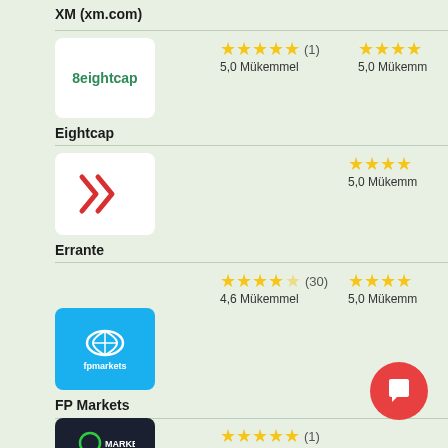XM (xm.com)
5,0 Mükemmel (1)
[Figure (logo): Eightcap broker logo - white box with green 8 and text 'eightcap']
Eightcap
5,0 Mükemmel
[Figure (logo): Errante broker logo - white box with red stylized arrow/R double icon]
Errante
4,6 Mükemmel (30)
5,0 Mükemmel
[Figure (logo): FP Markets broker logo - cyan/blue square with white fpmarkets text and symbol]
FP Markets
5,0 Mükemmel (1)
[Figure (logo): Go Markets broker logo - dark background with green circle O and white text GO MARKETS]